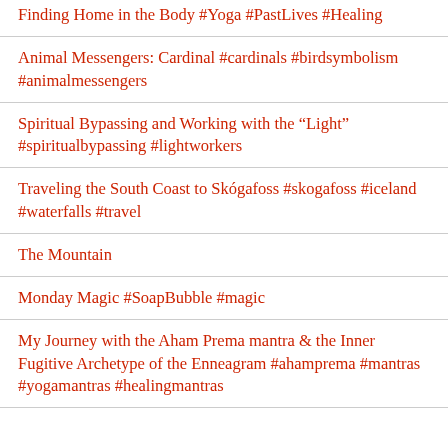Finding Home in the Body #Yoga #PastLives #Healing
Animal Messengers: Cardinal #cardinals #birdsymbolism #animalmessengers
Spiritual Bypassing and Working with the "Light" #spiritualbypassing #lightworkers
Traveling the South Coast to Skógafoss #skogafoss #iceland #waterfalls #travel
The Mountain
Monday Magic #SoapBubble #magic
My Journey with the Aham Prema mantra & the Inner Fugitive Archetype of the Enneagram #ahamprema #mantras #yogamantras #healingmantras